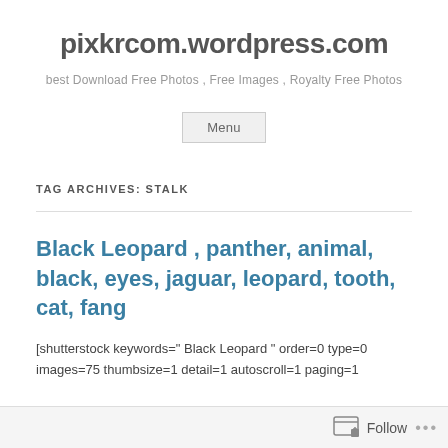pixkrcom.wordpress.com
best Download Free Photos , Free Images , Royalty Free Photos
Menu
TAG ARCHIVES: STALK
Black Leopard , panther, animal, black, eyes, jaguar, leopard, tooth, cat, fang
[shutterstock keywords=" Black Leopard " order=0 type=0 images=75 thumbsize=1 detail=1 autoscroll=1 paging=1
Follow